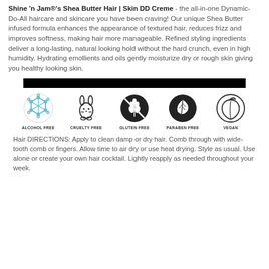Shine 'n Jam®'s Shea Butter Hair | Skin DD Creme - the all-in-one Dynamic-Do-All haircare and skincare you have been craving! Our unique Shea Butter infused formula enhances the appearance of textured hair, reduces frizz and improves softness, making hair more manageable. Refined styling ingredients deliver a long-lasting, natural looking hold without the hard crunch, even in high humidity. Hydrating emollients and oils gently moisturize dry or rough skin giving you healthy looking skin.
[Figure (other): Black banner bar]
[Figure (infographic): Five product certification icons: Alcohol Free (molecular structure), Cruelty Free (rabbit), Gluten Free (wheat crossed out on black circle), Paraben Free (leaf on black circle), Vegan (peach/fruit)]
Hair DIRECTIONS: Apply to clean damp or dry hair. Comb through with wide-tooth comb or fingers. Allow time to air dry or use heat drying. Style as usual. Use alone or create your own hair cocktail. Lightly reapply as needed throughout your week.